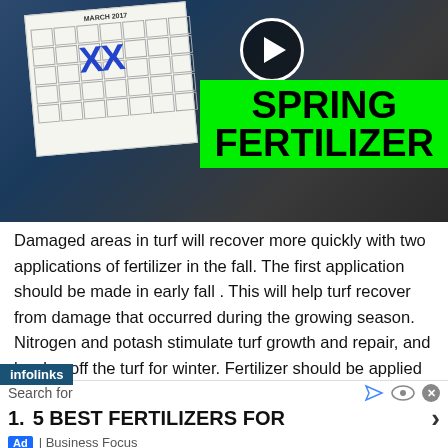[Figure (screenshot): Video thumbnail showing a man holding a calendar with XX marks, with a play button overlay and a bright green banner reading SPRING FERTILIZER]
Damaged areas in turf will recover more quickly with two applications of fertilizer in the fall. The first application should be made in early fall . This will help turf recover from damage that occurred during the growing season. Nitrogen and potash stimulate turf growth and repair, and harden off the turf for winter. Fertilizer should be applied at a rate to deliver 0.5 kg of nitrogen per 100 m2.
infolinks
Search for
1.   5 BEST FERTILIZERS FOR
Ad | Business Focus